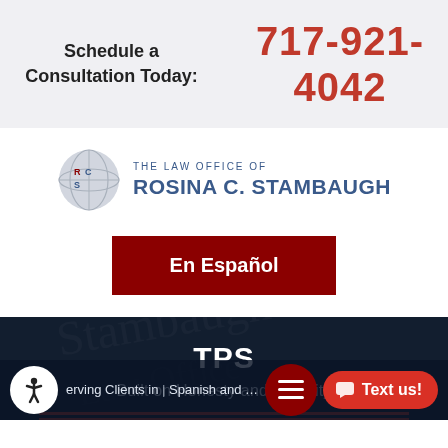Schedule a Consultation Today:
717-921-4042
[Figure (logo): The Law Office of Rosina C. Stambaugh logo with globe icon showing RCS initials]
En Español
TPS
Built on Honesty and Integrity
Serving Clients in Spanish and Italian